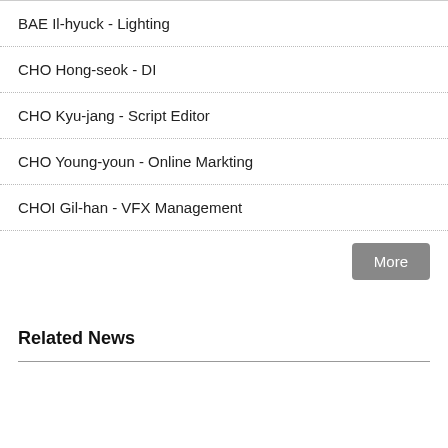BAE Il-hyuck - Lighting
CHO Hong-seok - DI
CHO Kyu-jang - Script Editor
CHO Young-youn - Online Markting
CHOI Gil-han - VFX Management
More
Related News